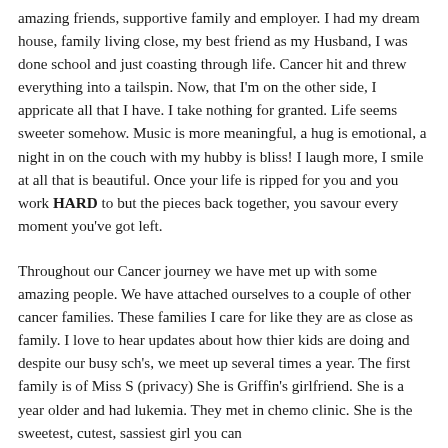amazing friends, supportive family and employer. I had my dream house, family living close, my best friend as my Husband, I was done school and just coasting through life. Cancer hit and threw everything into a tailspin. Now, that I'm on the other side, I appricate all that I have. I take nothing for granted. Life seems sweeter somehow. Music is more meaningful, a hug is emotional, a night in on the couch with my hubby is bliss! I laugh more, I smile at all that is beautiful. Once your life is ripped for you and you work HARD to but the pieces back together, you savour every moment you've got left.
Throughout our Cancer journey we have met up with some amazing people. We have attached ourselves to a couple of other cancer families. These families I care for like they are as close as family. I love to hear updates about how thier kids are doing and despite our busy sch's, we meet up several times a year. The first family is of Miss S (privacy) She is Griffin's girlfriend. She is a year older and had lukemia. They met in chemo clinic. She is the sweetest, cutest, sassiest girl you can